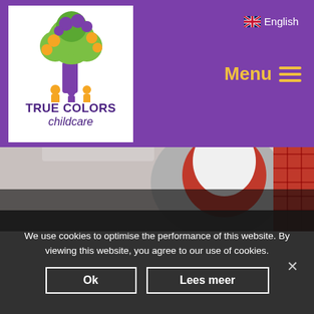[Figure (logo): True Colors Childcare logo: colorful tree with purple trunk, yellow and green leaves, purple flowers; white silhouetted children at base; company name 'TRUE COLORS childcare' below]
English
Menu
[Figure (photo): A smiling young child wearing a white chef's hat and red checkered apron, holding a large silver spoon, set against a light grey background]
We use cookies to optimise the performance of this website. By viewing this website, you agree to our use of cookies.
Ok
Lees meer